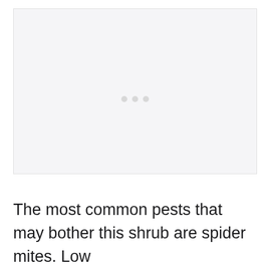[Figure (photo): Large light gray placeholder image box with three small dots in the center indicating a loading or missing image state]
The most common pests that may bother this shrub are spider mites. Low